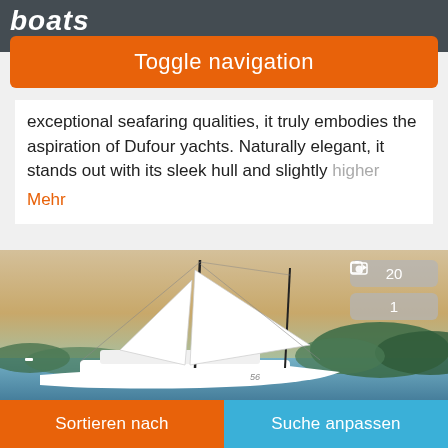boats .com
Toggle navigation
exceptional seafaring qualities, it truly embodies the aspiration of Dufour yachts. Naturally elegant, it stands out with its sleek hull and slightly higher
Mehr
[Figure (photo): A white sailing yacht (Dufour 56) on calm water near a wooded shoreline at dusk/sunset, with tall masts and rigging visible. Photo badge shows 20 photos and 1 video.]
Sortieren nach   Suche anpassen